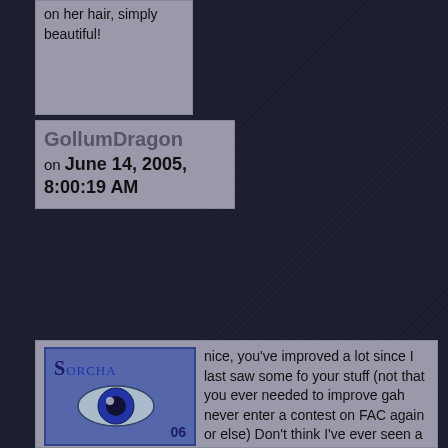on her hair, simply beautiful!
GollumDragon on June 14, 2005, 8:00:19 AM
[Figure (illustration): User avatar for Sorcha06 showing stylized eye graphic with text SORCHA and 06]
nice, you've improved a lot since I last saw some fo your stuff (not that you ever needed to improve gah never enter a contest on FAC again or else) Don't think I've ever seen a pencil drawing of yours, I really like it. The outfit's really cool too, the very leathery